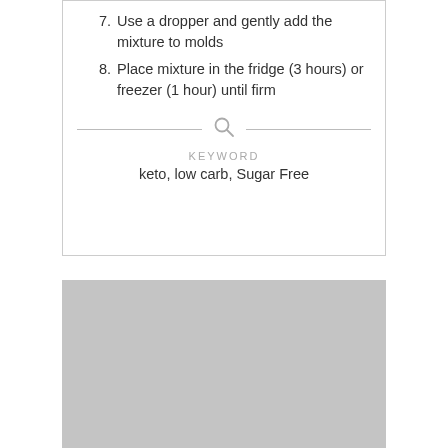7. Use a dropper and gently add the mixture to molds
8. Place mixture in the fridge (3 hours) or freezer (1 hour) until firm
KEYWORD
keto, low carb, Sugar Free
[Figure (photo): Gray placeholder image block]